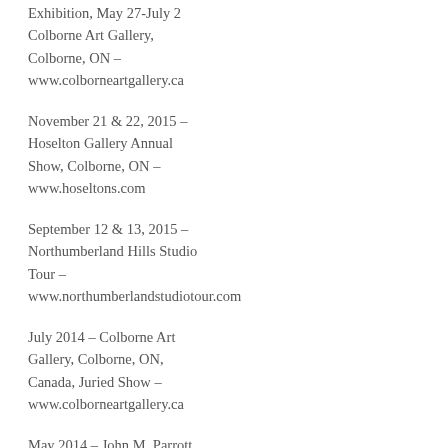Exhibition, May 27-July 2 Colborne Art Gallery, Colborne, ON – www.colborneartgallery.ca
November 21 & 22, 2015 – Hoselton Gallery Annual Show, Colborne, ON – www.hoseltons.com
September 12 & 13, 2015 – Northumberland Hills Studio Tour – www.northumberlandstudiotour.com
July 2014 – Colborne Art Gallery, Colborne, ON, Canada, Juried Show – www.colborneartgallery.ca
May 2014 – John M. Parrott Art Gallery, Belleville, ON,